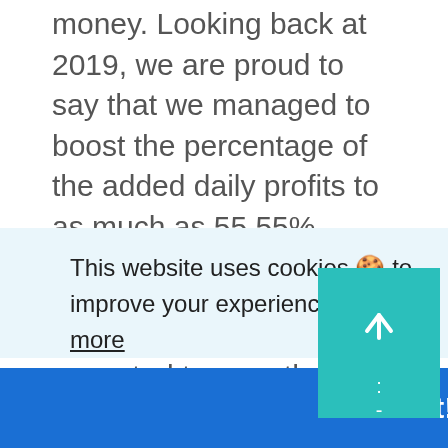money. Looking back at 2019, we are proud to say that we managed to boost the percentage of the added daily profits to as much as 55.55%.
This is significantly more than what can be expected to earn through passive income on your short-term investments through any other initiative, and we are very proud to be the ones who managed to pull it off
This website uses cookies 🍪 to improve your experience.  Learn more
Got it!
time jobs no longer need to rely on them to